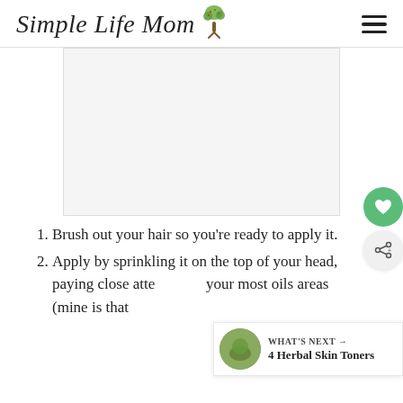Simple Life Mom
[Figure (other): Advertisement placeholder area (gray box)]
Brush out your hair so you're ready to apply it.
Apply by sprinkling it on the top of your head, paying close attention to your most oils areas (mine is that